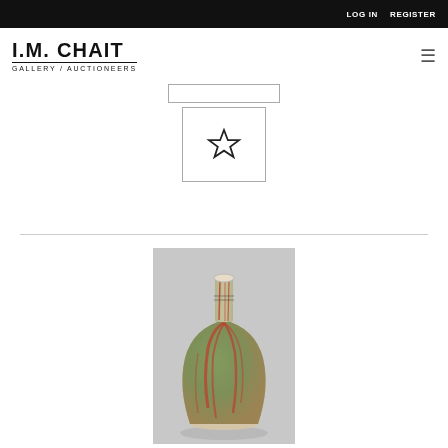LOG IN   REGISTER
[Figure (logo): I.M. Chait Gallery / Auctioneers logo]
[Figure (screenshot): UI buttons: a rectangular button and a star/bookmark button]
[Figure (photo): Chinese ceramic vase with red and green flambe glaze, tall slender neck, bulbous body, on gray background]